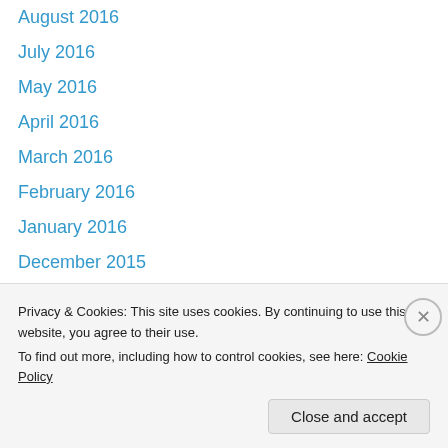August 2016
July 2016
May 2016
April 2016
March 2016
February 2016
January 2016
December 2015
November 2015
October 2015
September 2015
August 2015
July 2015
June 2015
Privacy & Cookies: This site uses cookies. By continuing to use this website, you agree to their use.
To find out more, including how to control cookies, see here: Cookie Policy
Close and accept